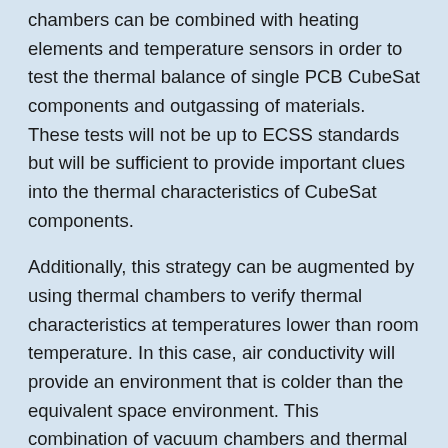chambers can be combined with heating elements and temperature sensors in order to test the thermal balance of single PCB CubeSat components and outgassing of materials. These tests will not be up to ECSS standards but will be sufficient to provide important clues into the thermal characteristics of CubeSat components.
Additionally, this strategy can be augmented by using thermal chambers to verify thermal characteristics at temperatures lower than room temperature. In this case, air conductivity will provide an environment that is colder than the equivalent space environment. This combination of vacuum chambers and thermal chambers may allow CubeSat...